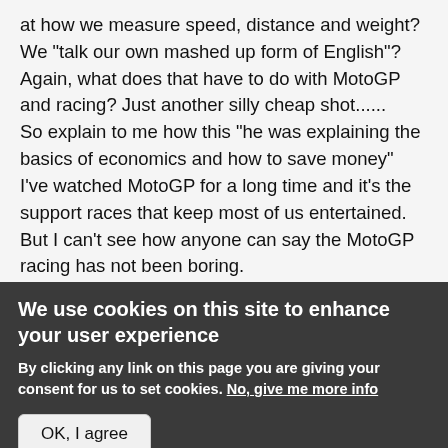at how we measure speed, distance and weight? We "talk our own mashed up form of English"? Again, what does that have to do with MotoGP and racing? Just another silly cheap shot......
So explain to me how this "he was explaining the basics of economics and how to save money"
I've watched MotoGP for a long time and it's the support races that keep most of us entertained. But I can't see how anyone can say the MotoGP racing has not been boring.
We use cookies on this site to enhance your user experience
By clicking any link on this page you are giving your consent for us to set cookies. No, give me more info
OK, I agree